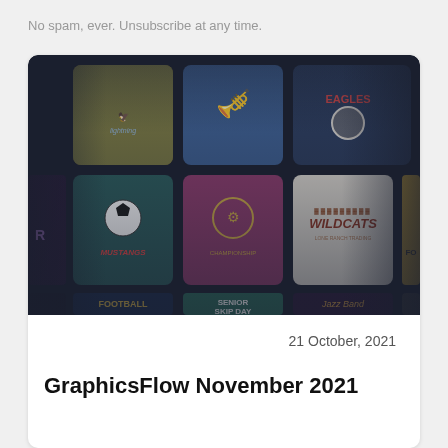No spam, ever. Unsubscribe at any time.
[Figure (screenshot): A grid of sports and school-themed graphic design templates on a dark background. Visible designs include trumpet, volleyball, soccer (MUSTANGS), a championship emblem, WILDCATS logo, FOOTBALL, SENIOR SKIP DAY, and Jazz Band graphics.]
21 October, 2021
GraphicsFlow November 2021